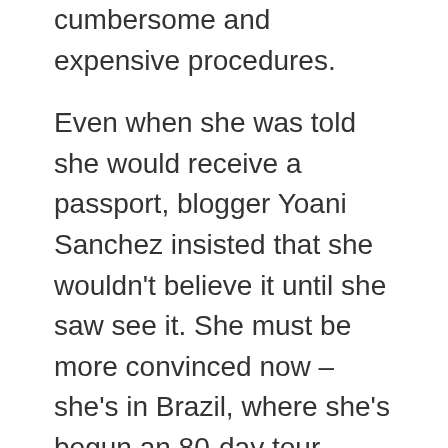cumbersome and expensive procedures.
Even when she was told she would receive a passport, blogger Yoani Sanchez insisted that she wouldn't believe it until she saw see it. She must be more convinced now – she's in Brazil, where she's begun an 80-day tour (around the world?) of ten or so countries.
Her counterparts (pro-government bloggers) initiated a volley of burlesque criticism against these trips by dissenters. In their posts, a caricature appears of Eliecer dressed like a Viking – as if visiting